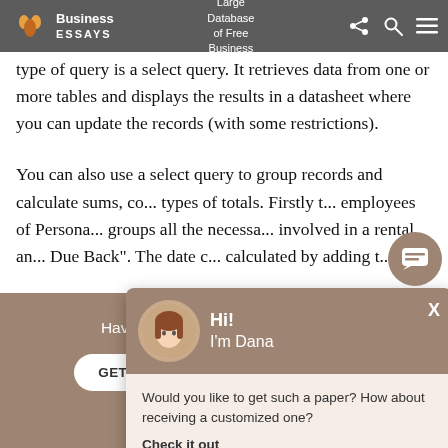Business Essays | Large Database of Free Business
type of query is a select query. It retrieves data from one or more tables and displays the results in a datasheet where you can update the records (with some restrictions).
You can also use a select query to group records and calculate sums, co... types of totals. Firstly t... employees of Persona... groups all the necessa... involved in a rental an... Due Back". The date c... calculated by adding t...
[Figure (screenshot): Chat popup with avatar of Dana, greeting 'Hi! I'm Dana', and message 'Would you like to get such a paper? How about receiving a customized one? Check it out']
Haven't found the Essay You Want?
GET YOUR CUSTOM ESSAY SAMPLE
For Only $13.90/page